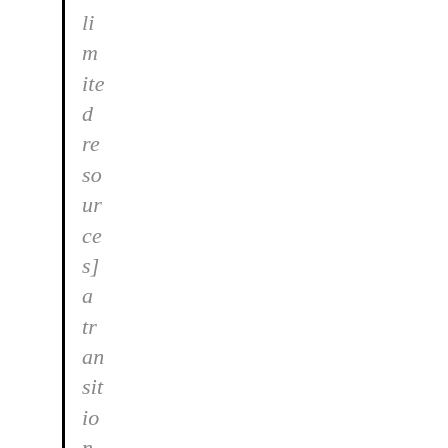li m ite d re so ur ce s] a tr an sit io n wi